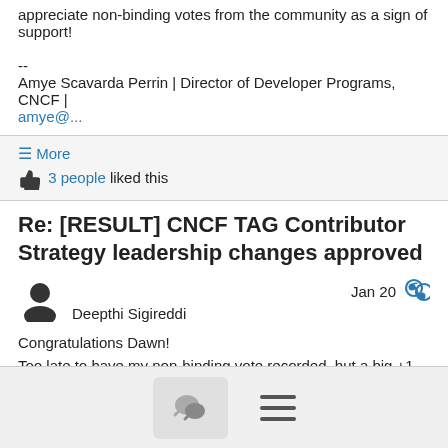appreciate non-binding votes from the community as a sign of support!
--
Amye Scavarda Perrin | Director of Developer Programs, CNCF | amye@...
≡ More
👍 3 people liked this
Re: [RESULT] CNCF TAG Contributor Strategy leadership changes approved
Deepthi Sigireddi  Jan 20
Congratulations Dawn!
Too late to have my non-binding vote recorded, but a big +1 regardless.